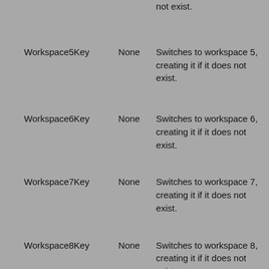| Key | Default | Description |
| --- | --- | --- |
| Workspace5Key | None | Switches to workspace 5, creating it if it does not exist. |
| Workspace6Key | None | Switches to workspace 6, creating it if it does not exist. |
| Workspace7Key | None | Switches to workspace 7, creating it if it does not exist. |
| Workspace8Key | None | Switches to workspace 8, creating it if it does not exist. |